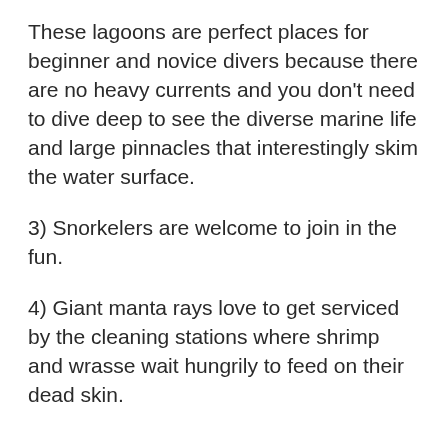These lagoons are perfect places for beginner and novice divers because there are no heavy currents and you don't need to dive deep to see the diverse marine life and large pinnacles that interestingly skim the water surface.
3) Snorkelers are welcome to join in the fun.
4) Giant manta rays love to get serviced by the cleaning stations where shrimp and wrasse wait hungrily to feed on their dead skin.